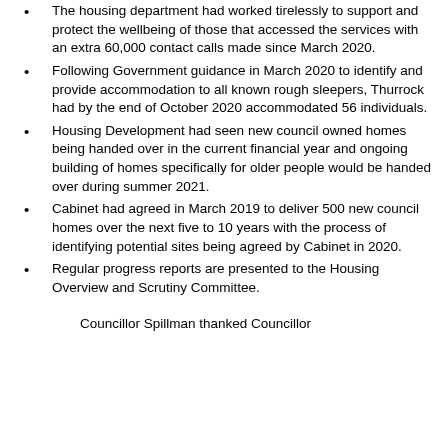The housing department had worked tirelessly to support and protect the wellbeing of those that accessed the services with an extra 60,000 contact calls made since March 2020.
Following Government guidance in March 2020 to identify and provide accommodation to all known rough sleepers, Thurrock had by the end of October 2020 accommodated 56 individuals.
Housing Development had seen new council owned homes being handed over in the current financial year and ongoing building of homes specifically for older people would be handed over during summer 2021.
Cabinet had agreed in March 2019 to deliver 500 new council homes over the next five to 10 years with the process of identifying potential sites being agreed by Cabinet in 2020.
Regular progress reports are presented to the Housing Overview and Scrutiny Committee.
Councillor Spillman thanked Councillor